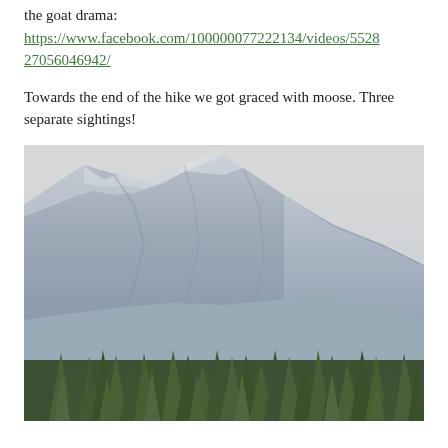the goat drama:
https://www.facebook.com/100000077222134/videos/552827056046942/
Towards the end of the hike we got graced with moose. Three separate sightings!
[Figure (photo): Mountain landscape with rocky slopes and evergreen trees in foreground, overcast sky]